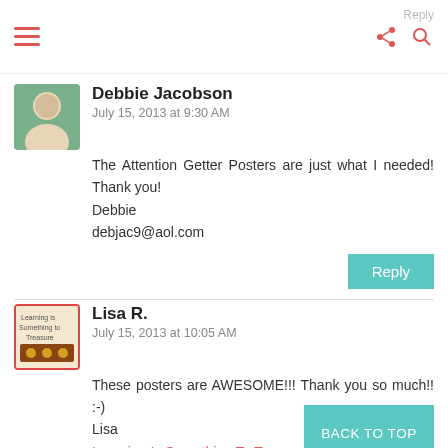Navigation bar with hamburger menu, share icon, search icon, Reply link
Debbie Jacobson
July 15, 2013 at 9:30 AM

The Attention Getter Posters are just what I needed! Thank you!
Debbie
debjac9@aol.com
Lisa R.
July 15, 2013 at 10:05 AM

These posters are AWESOME!!! Thank you so much!! :-)
Lisa
Learning Is Something To Treasure